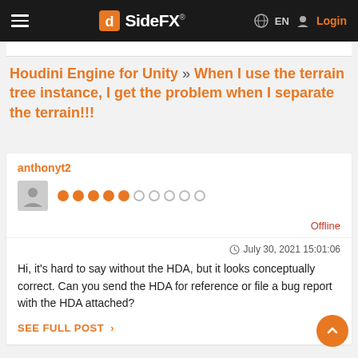SideFX EN Login
Houdini Engine for Unity » When I use the terrain tree instance, I get the problem when I separate the terrain!!!
anthonyt2
Offline
July 30, 2021 15:01:06
Hi, it's hard to say without the HDA, but it looks conceptually correct. Can you send the HDA for reference or file a bug report with the HDA attached?
SEE FULL POST >